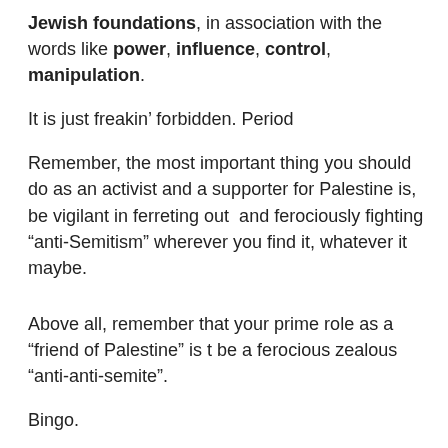Jewish foundations, in association with the words like power, influence, control, manipulation.
It is just freakin’ forbidden. Period
Remember, the most important thing you should do as an activist and a supporter for Palestine is, be vigilant in ferreting out  and ferociously fighting “anti-Semitism” wherever you find it, whatever it maybe.
Above all, remember that your prime role as a “friend of Palestine” is t be a ferocious zealous “anti-anti-semite”.
Bingo.
[Disclaimer: This article is SATIRE]